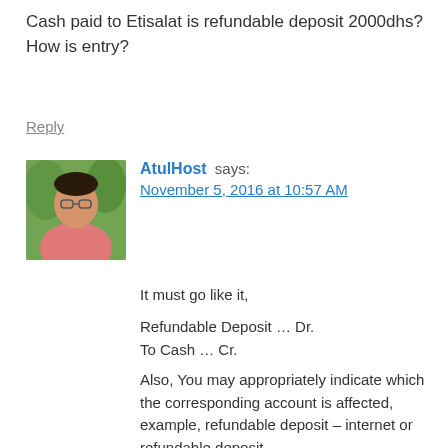Cash paid to Etisalat is refundable deposit 2000dhs? How is entry?
Reply
[Figure (photo): Avatar photo of a man in a pink shirt against a green background]
AtulHost says: November 5, 2016 at 10:57 AM
It must go like it,
Refundable Deposit ... Dr.
To Cash ... Cr.
Also, You may appropriately indicate which the corresponding account is affected, example, refundable deposit – internet or refundable deposit –